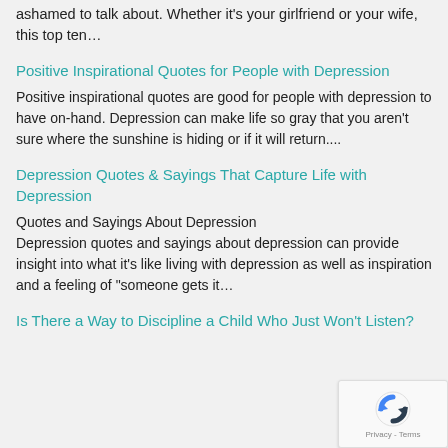ashamed to talk about. Whether it's your girlfriend or your wife, this top ten...
Positive Inspirational Quotes for People with Depression
Positive inspirational quotes are good for people with depression to have on-hand. Depression can make life so gray that you aren't sure where the sunshine is hiding or if it will return....
Depression Quotes & Sayings That Capture Life with Depression
Quotes and Sayings About Depression
Depression quotes and sayings about depression can provide insight into what it's like living with depression as well as inspiration and a feeling of "someone gets it...
Is There a Way to Discipline a Child Who Just Won't Listen?
[Figure (other): reCAPTCHA privacy widget with rotating arrows icon and Privacy - Terms text]